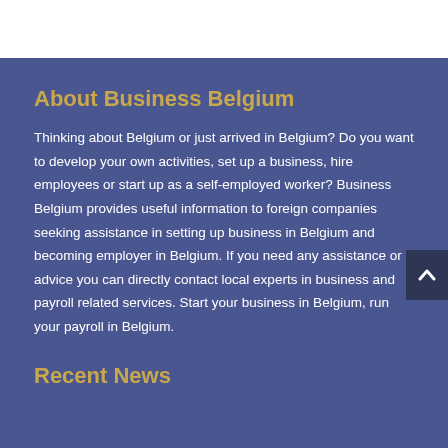About Business Belgium
Thinking about Belgium or just arrived in Belgium? Do you want to develop your own activities, set up a business, hire employees or start up as a self-employed worker? Business Belgium provides useful information to foreign companies seeking assistance in setting up business in Belgium and becoming employer in Belgium. If you need any assistance or advice you can directly contact local experts in business and payroll related services. Start your business in Belgium, run your payroll in Belgium.
Recent News